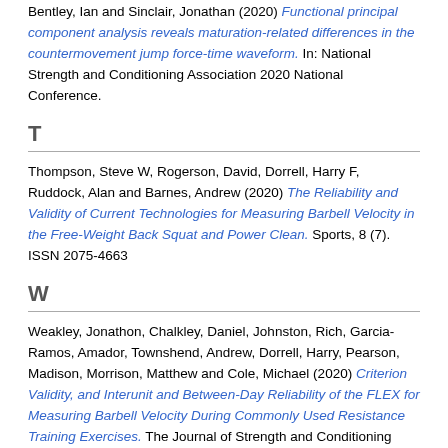Bentley, Ian and Sinclair, Jonathan (2020) Functional principal component analysis reveals maturation-related differences in the countermovement jump force-time waveform. In: National Strength and Conditioning Association 2020 National Conference.
T
Thompson, Steve W, Rogerson, David, Dorrell, Harry F, Ruddock, Alan and Barnes, Andrew (2020) The Reliability and Validity of Current Technologies for Measuring Barbell Velocity in the Free-Weight Back Squat and Power Clean. Sports, 8 (7). ISSN 2075-4663
W
Weakley, Jonathon, Chalkley, Daniel, Johnston, Rich, Garcia-Ramos, Amador, Townshend, Andrew, Dorrell, Harry, Pearson, Madison, Morrison, Matthew and Cole, Michael (2020) Criterion Validity, and Interunit and Between-Day Reliability of the FLEX for Measuring Barbell Velocity During Commonly Used Resistance Training Exercises. The Journal of Strength and Conditioning Research, 34 (6). pp. 1519-1524.